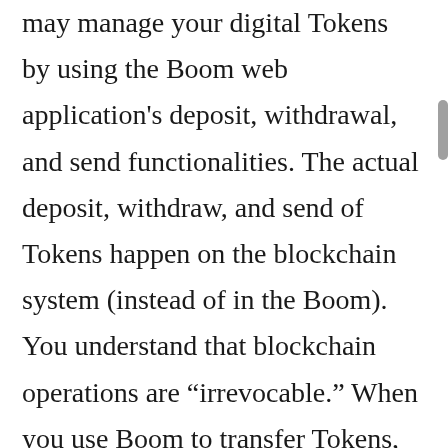may manage your digital Tokens by using the Boom web application's deposit, withdrawal, and send functionalities. The actual deposit, withdraw, and send of Tokens happen on the blockchain system (instead of in the Boom). You understand that blockchain operations are “irrevocable.” When you use Boom to transfer Tokens, you shall be responsible for the consequences and losses of mishandling the transfer (including but not limited to wrong addresses, wrong amounts, problems of